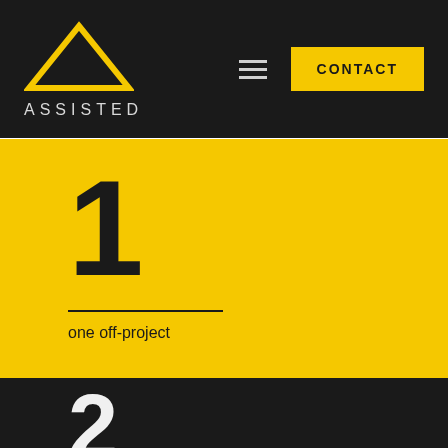[Figure (logo): ASSISTED logo with yellow triangle above the text ASSISTED in light gray, navigation hamburger menu and yellow CONTACT button]
1
one off-project
2